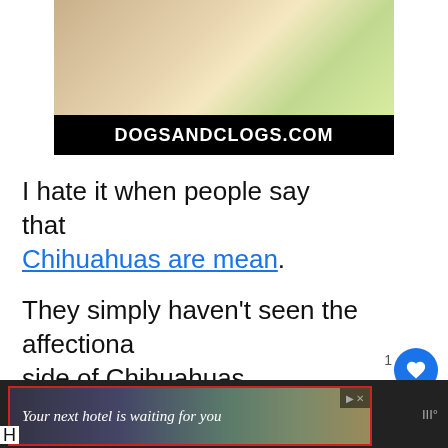[Figure (photo): Photo of a dog nuzzling a child wearing yellow, with a black banner at the bottom reading DOGSANDCLOGS.COM]
I hate it when people say that Chihuahuas are mean.
They simply haven't seen the affectionate side of Chihuahuas.
That's why I wrote this article.
[Figure (screenshot): Website advertisement banner: Your next hotel is waiting for you]
H